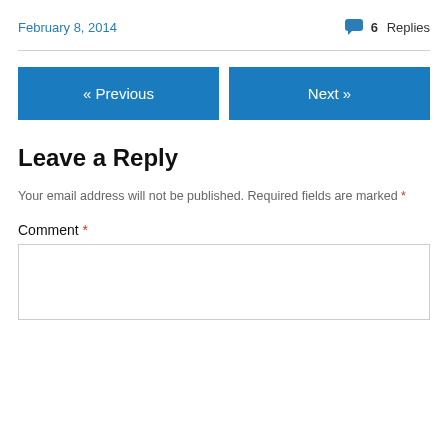February 8, 2014
💬 6 Replies
« Previous
Next »
Leave a Reply
Your email address will not be published. Required fields are marked *
Comment *